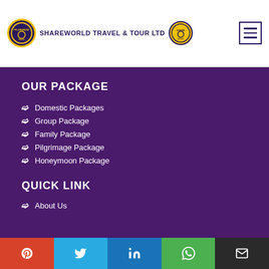SHAREWORLD TRAVEL & TOUR LTD
OUR PACKAGE
Domestic Packages
Group Package
Family Package
Pilgrimage Package
Honeymoon Package
QUICK LINK
About Us